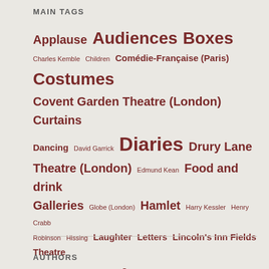MAIN TAGS
Applause Audiences Boxes Charles Kemble Children Comédie-Française (Paris) Costumes Covent Garden Theatre (London) Curtains Dancing David Garrick Diaries Drury Lane Theatre (London) Edmund Kean Food and drink Galleries Globe (London) Hamlet Harry Kessler Henry Crabb Robinson Hissing Laughter Letters Lincoln's Inn Fields Theatre (London) London Memoirs Music Musicians Newspapers New York Othello Paris Periodicals Philip Hone Pit Premieres Prices Programmes Samuel Pepys Sarah Siddons Scenery Seating Singing Smoking Staff Stalls Times Travel William Macready William Shakespeare
AUTHORS